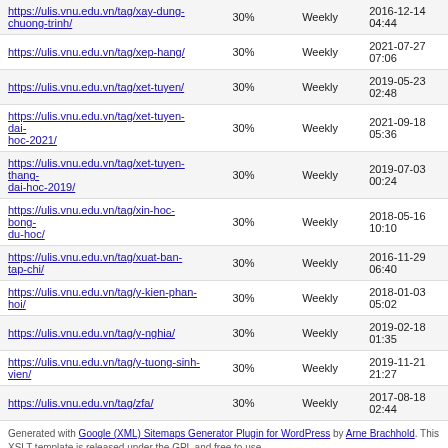| URL | Priority | Change Frequency | Last Change |
| --- | --- | --- | --- |
| https://ulis.vnu.edu.vn/tag/xay-dung-chuong-trinh/ | 30% | Weekly | 2016-12-14 04:44 |
| https://ulis.vnu.edu.vn/tag/xep-hang/ | 30% | Weekly | 2021-07-27 07:06 |
| https://ulis.vnu.edu.vn/tag/xet-tuyen/ | 30% | Weekly | 2019-05-23 02:48 |
| https://ulis.vnu.edu.vn/tag/xet-tuyen-dai-hoc-2021/ | 30% | Weekly | 2021-09-18 05:36 |
| https://ulis.vnu.edu.vn/tag/xet-tuyen-thang-dai-hoc-2019/ | 30% | Weekly | 2019-07-03 00:24 |
| https://ulis.vnu.edu.vn/tag/xin-hoc-bong-du-hoc/ | 30% | Weekly | 2018-05-16 10:10 |
| https://ulis.vnu.edu.vn/tag/xuat-ban-tap-chi/ | 30% | Weekly | 2016-11-29 06:40 |
| https://ulis.vnu.edu.vn/tag/y-kien-phan-hoi/ | 30% | Weekly | 2018-01-03 05:02 |
| https://ulis.vnu.edu.vn/tag/y-nghia/ | 30% | Weekly | 2019-02-18 01:35 |
| https://ulis.vnu.edu.vn/tag/y-tuong-sinh-vien/ | 30% | Weekly | 2019-11-21 21:27 |
| https://ulis.vnu.edu.vn/tag/zfa/ | 30% | Weekly | 2017-08-18 02:44 |
Generated with Google (XML) Sitemaps Generator Plugin for WordPress by Arne Brachhold. This XSLT template is released under the GPL and free to use.
If you have problems with your sitemap please visit the plugin FAQ or the support forum.